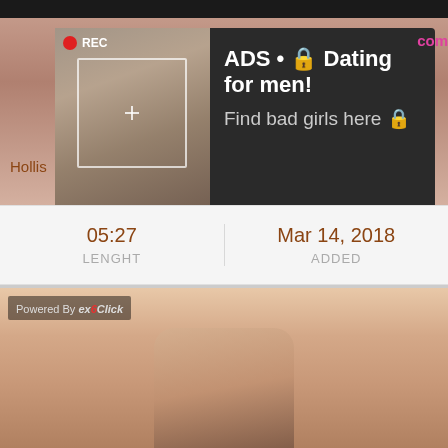[Figure (screenshot): Video player screenshot with REC indicator and selfie photo of a woman, overlaid with a dark ad popup reading 'ADS • 🔒 Dating for men! Find bad girls here 🔒']
| LENGHT | ADDED |
| --- | --- |
| 05:27 | Mar 14, 2018 |
[Figure (photo): Close-up photo of a person with blonde hair; 'Powered By exoClick' watermark in top-left corner]